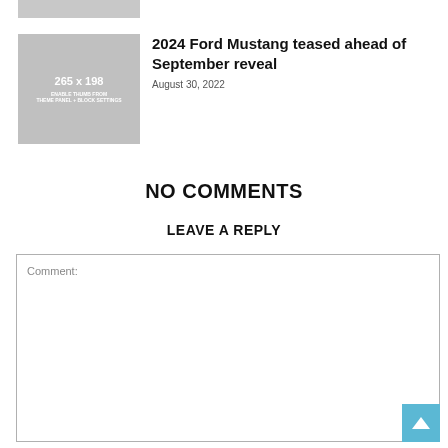[Figure (other): Gray placeholder image thumbnail strip at top]
[Figure (other): Gray placeholder thumbnail 265x198 with text 'Enable thumb from THEME PANEL + BLOCK SETTINGS']
2024 Ford Mustang teased ahead of September reveal
August 30, 2022
NO COMMENTS
LEAVE A REPLY
Comment: